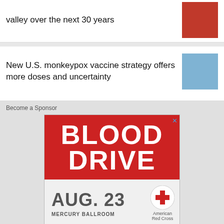valley over the next 30 years
New U.S. monkeypox vaccine strategy offers more doses and uncertainty
Become a Sponsor
[Figure (other): Blood Drive advertisement: red top section with 'BLOOD DRIVE' in large white text, white bottom section showing 'AUG. 23 MERCURY BALLROOM' with American Red Cross logo]
Get WFPL stories delivered daily.